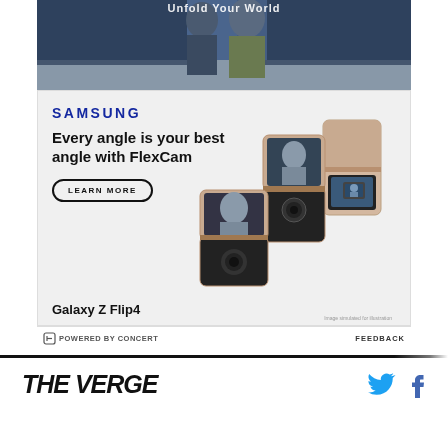[Figure (photo): Top portion of Samsung Galaxy Z Flip4 advertisement showing two people in a mall/store setting with text 'Unfold Your World' overlaid]
[Figure (advertisement): Samsung advertisement for Galaxy Z Flip4 with FlexCam headline, LEARN MORE button, and product images showing three phones in various flip positions]
POWERED BY CONCERT
FEEDBACK
THE VERGE